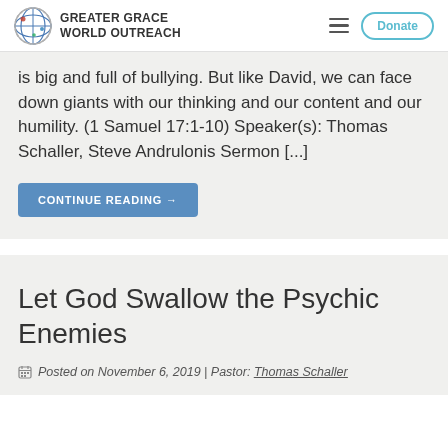GREATER GRACE WORLD OUTREACH
is big and full of bullying. But like David, we can face down giants with our thinking and our content and our humility. (1 Samuel 17:1-10) Speaker(s): Thomas Schaller, Steve Andrulonis Sermon [...]
CONTINUE READING →
Let God Swallow the Psychic Enemies
Posted on November 6, 2019 | Pastor: Thomas Schaller